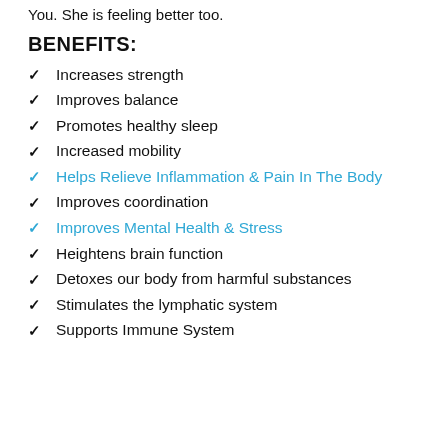You. She is feeling better too.
BENEFITS:
Increases strength
Improves balance
Promotes healthy sleep
Increased mobility
Helps Relieve Inflammation & Pain In The Body
Improves coordination
Improves Mental Health & Stress
Heightens brain function
Detoxes our body from harmful substances
Stimulates the lymphatic system
Supports Immune System